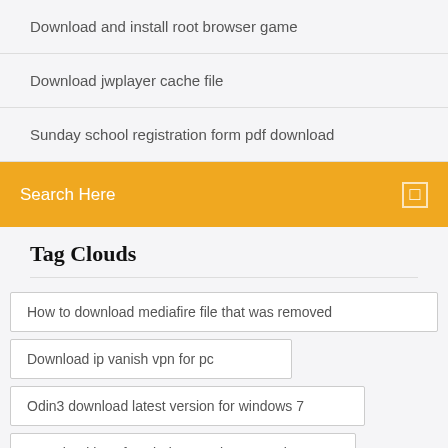Download and install root browser game
Download jwplayer cache file
Sunday school registration form pdf download
Search Here
Tag Clouds
How to download mediafire file that was removed
Download ip vanish vpn for pc
Odin3 download latest version for windows 7
Download java for windows 10 latest version